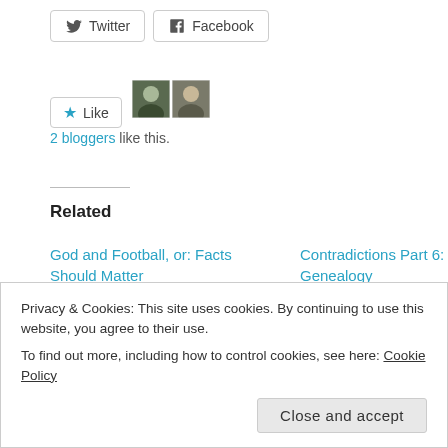[Figure (other): Twitter and Facebook share buttons]
[Figure (other): Like button with two blogger avatars]
2 bloggers like this.
Related
God and Football, or: Facts Should Matter
November 4, 2016
In "Agnosticism"
Contradictions Part 6: Jesus's Genealogy
March 11, 2011
In "Agnosticism"
In Case You Noticed All the Recent Comments
Privacy & Cookies: This site uses cookies. By continuing to use this website, you agree to their use.
To find out more, including how to control cookies, see here: Cookie Policy
Close and accept